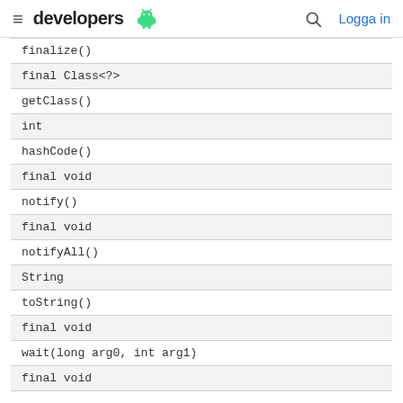developers [android logo] | [search] Logga in
| finalize() |
| final Class<?> |
| getClass() |
| int |
| hashCode() |
| final void |
| notify() |
| final void |
| notifyAll() |
| String |
| toString() |
| final void |
| wait(long arg0, int arg1) |
| final void |